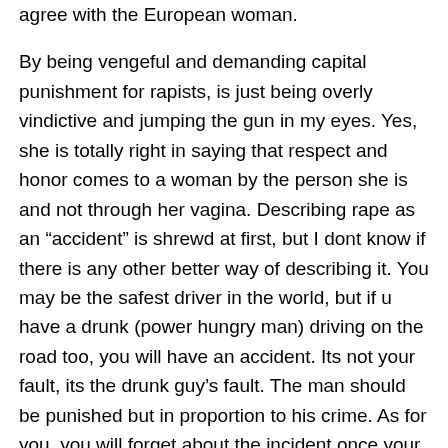agree with the European woman. By being vengeful and demanding capital punishment for rapists, is just being overly vindictive and jumping the gun in my eyes. Yes, she is totally right in saying that respect and honor comes to a woman by the person she is and not through her vagina. Describing rape as an “accident” is shrewd at first, but I dont know if there is any other better way of describing it. You may be the safest driver in the world, but if u have a drunk (power hungry man) driving on the road too, you will have an accident. Its not your fault, its the drunk guy’s fault. The man should be punished but in proportion to his crime. As for you, you will forget about the incident once your wounds are healed and you get back to your